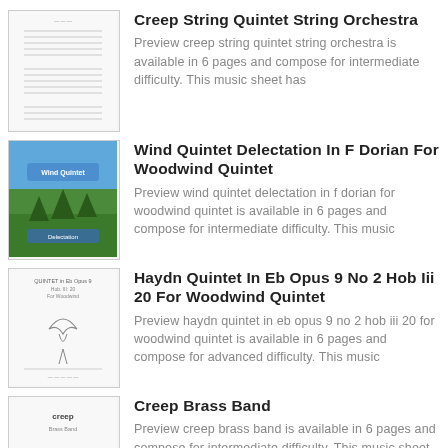[Figure (illustration): Sheet music thumbnail for Creep String Quintet]
Creep String Quintet String Orchestra
Preview creep string quintet string orchestra is available in 6 pages and compose for intermediate difficulty. This music sheet has
[Figure (illustration): Forest/nature scene thumbnail for Wind Quintet Delectation]
Wind Quintet Delectation In F Dorian For Woodwind Quintet
Preview wind quintet delectation in f dorian for woodwind quintet is available in 6 pages and compose for intermediate difficulty. This music
[Figure (illustration): Sheet music thumbnail for Haydn Quintet]
Haydn Quintet In Eb Opus 9 No 2 Hob Iii 20 For Woodwind Quintet
Preview haydn quintet in eb opus 9 no 2 hob iii 20 for woodwind quintet is available in 6 pages and compose for advanced difficulty. This music
[Figure (illustration): Thumbnail for Creep Brass Band]
Creep Brass Band
Preview creep brass band is available in 6 pages and compose for intermediate difficulty. This music sheet has been read 29129 times and the last read was at 2022-08-16 20:44:32.
[Figure (illustration): Thumbnail for Creep Cello Trio]
Creep Cello Trio